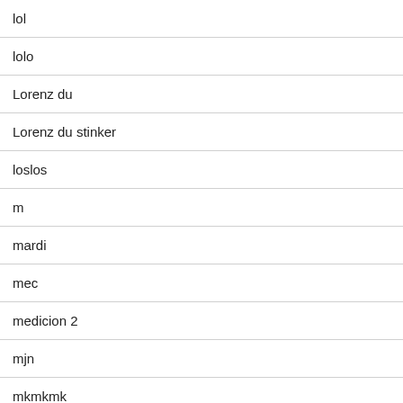lol
lolo
Lorenz du
Lorenz du stinker
loslos
m
mardi
mec
medicion 2
mjn
mkmkmk
mmm